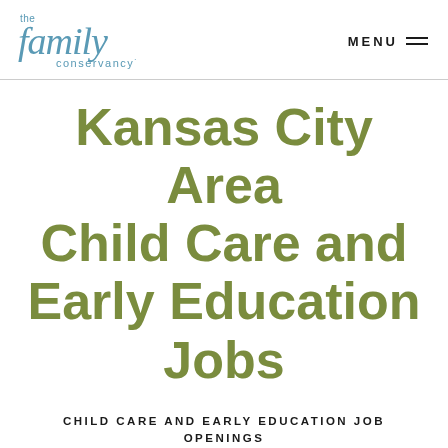the family conservancy
Kansas City Area Child Care and Early Education Jobs
CHILD CARE AND EARLY EDUCATION JOB OPENINGS
Do you want to post a job? Early care and education providers can sign up for a free profile